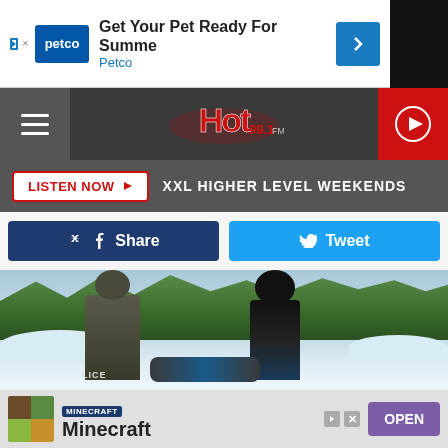[Figure (screenshot): Petco advertisement banner: Get Your Pet Ready For Summer - Petco]
[Figure (logo): Hot 99.1 FM radio station logo with hamburger menu and play button]
LISTEN NOW ▶  XXL HIGHER LEVEL WEEKENDS
[Figure (infographic): Facebook Share and Twitter Tweet social sharing buttons]
[Figure (photo): Outdoor winter scene with police officer and person in snow]
[Figure (screenshot): Minecraft app advertisement with OPEN button]